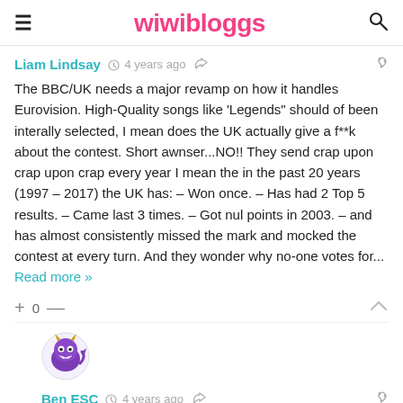wiwibloggs
Liam Lindsay  4 years ago
The BBC/UK needs a major revamp on how it handles Eurovision. High-Quality songs like 'Legends" should of been interally selected, I mean does the UK actually give a f**k about the contest. Short awnser...NO!! They send crap upon crap upon crap every year I mean the in the past 20 years (1997 – 2017) the UK has: – Won once. – Has had 2 Top 5 results. – Came last 3 times. – Got nul points in 2003. – and has almost consistently missed the mark and mocked the contest at every turn. And they wonder why no-one votes for... Read more »
+ 0 —
[Figure (illustration): Purple monster/devil avatar for user Ben ESC]
Ben ESC  4 years ago
Reply to Liam Lindsay